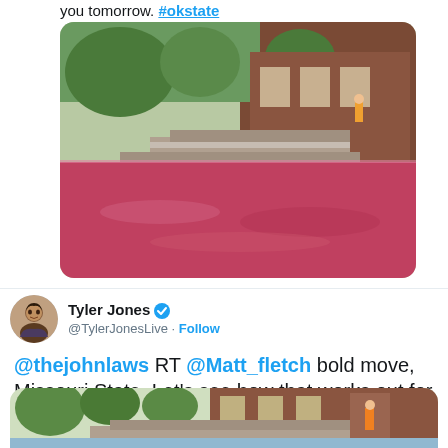you tomorrow. #okstate
[Figure (photo): A fountain with bright pink/red dyed water outside a brick university building, with trees in the background.]
Tyler Jones @TylerJonesLive · Follow
@thejohnlaws RT @Matt_fletch bold move, Missouri State. Let's see how that works out for you tomorrow. #okstate
[Figure (photo): A fountain with normal water outside a brick university building, with trees and a person in an orange vest visible.]